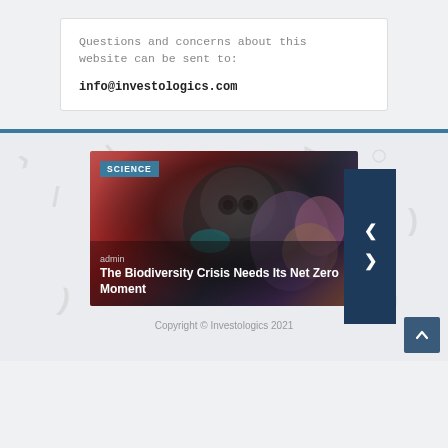Questions and concerns about this website can be sent to:
info@investologics.com
[Figure (screenshot): Website screenshot showing a science article card with an animal image, SCIENCE badge, admin author, title 'The Biodiversity Crisis Needs Its Net Zero Moment', navigation arrows, and dark blue nav panel]
Copyright © Investologics 2021